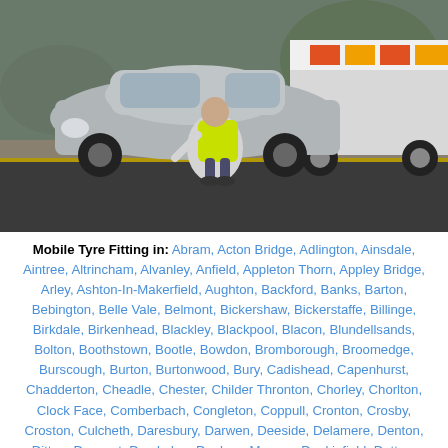[Figure (photo): A person wearing a high-visibility yellow vest crouching beside a silver Ford Ka car on a road, examining or fitting a tyre. A white and orange van is parked behind the car.]
Mobile Tyre Fitting in: Abram, Acton Bridge, Adlington, Ainsdale, Aintree, Altrincham, Alvanley, Anfield, Appleton Thorn, Appley Bridge, Arley, Ashton-In-Makerfield, Aughton, Backford, Banks, Barton, Bebington, Belle Vale, Belmont, Bickershaw, Bickerstaffe, Billinge, Birkdale, Birkenhead, Blackley, Blackpool, Blacon, Blundellsands, Bolton, Boothstown, Bootle, Bowdon, Bromborough, Broomedge, Burscough, Burton, Burtonwood, Bury, Cadishead, Capenhurst, Chadderton, Cheadle, Chester, Childer Thronton, Chorley, Chorlton, Clock Face, Comberbach, Congleton, Coppull, Cronton, Crosby, Croston, Culcheth, Daresbury, Darwen, Deeside, Delamere, Denton, Ditton, Dovecot, Droylsden, Dunham Massey, Dunkinfield, Dutton, Eastham, Eccles, Ellesmere Port, Everton, Failsworth, Farnworth, Formby, Freshfield, Frodsham, Garston, Glazebury, Golborne, Grappenhall, Greasby, Great Altcar, Great Budworth, Greater Manchester, Greenmount, Hale, Hale Bank, Hale Barns, Halewood, Halsall, Halton, Hapsford, Haskayne, Hatton, Haydock, Helsby, Heswall, High Legh, Hightown, Hindley, Holmer Chapel, Hooten, Horwich, Hough Green